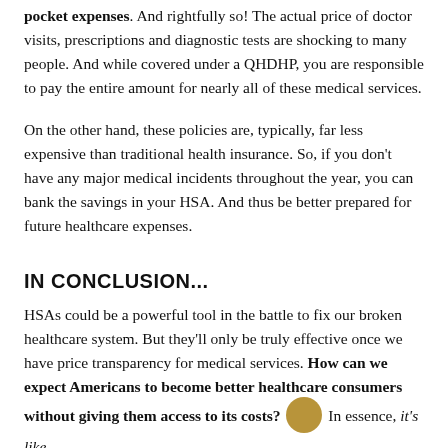pocket expenses. And rightfully so! The actual price of doctor visits, prescriptions and diagnostic tests are shocking to many people. And while covered under a QHDHP, you are responsible to pay the entire amount for nearly all of these medical services.
On the other hand, these policies are, typically, far less expensive than traditional health insurance. So, if you don't have any major medical incidents throughout the year, you can bank the savings in your HSA. And thus be better prepared for future healthcare expenses.
IN CONCLUSION...
HSAs could be a powerful tool in the battle to fix our broken healthcare system. But they'll only be truly effective once we have price transparency for medical services. How can we expect Americans to become better healthcare consumers without giving them access to its costs? In essence, it's like